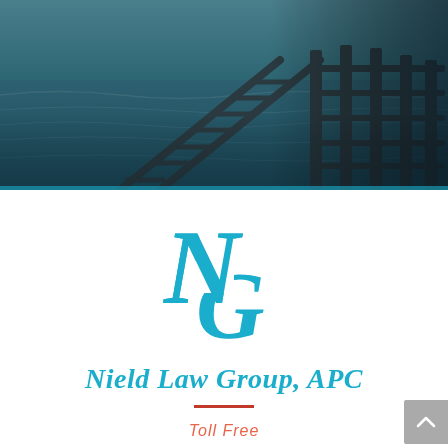[Figure (photo): Aerial or close-up photograph of a wooden dock/pier staircase over teal-blue ocean water, with a dark teal overlay/tint]
[Figure (logo): Nield Law Group APC monogram logo — overlapping N and G letters in cyan/teal color]
Nield Law Group, APC
Toll Free
800-827-1458